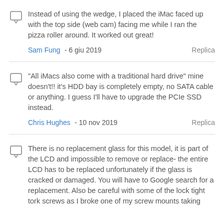Instead of using the wedge, I placed the iMac faced up with the top side (web cam) facing me while I ran the pizza roller around. It worked out great!
Sam Fung - 6 giu 2019    Replica
“All iMacs also come with a traditional hard drive” mine doesn't!! it's HDD bay is completely empty, no SATA cable or anything. I guess I'll have to upgrade the PCIe SSD instead.
Chris Hughes - 10 nov 2019    Replica
There is no replacement glass for this model, it is part of the LCD and impossible to remove or replace- the entire LCD has to be replaced unfortunately if the glass is cracked or damaged. You will have to Google search for a replacement. Also be careful with some of the lock tight tork screws as I broke one of my screw mounts taking